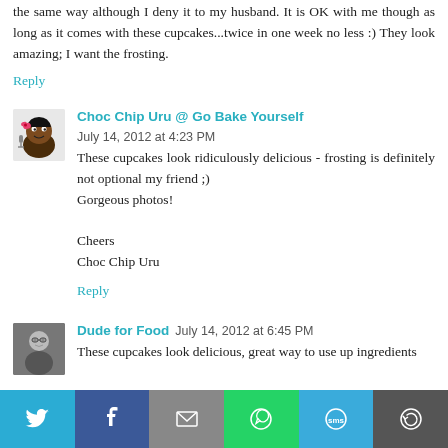the same way although I deny it to my husband. It is OK with me though as long as it comes with these cupcakes...twice in one week no less :) They look amazing; I want the frosting.
Reply
Choc Chip Uru @ Go Bake Yourself  July 14, 2012 at 4:23 PM
These cupcakes look ridiculously delicious - frosting is definitely not optional my friend ;)
Gorgeous photos!

Cheers
Choc Chip Uru
Reply
Dude for Food  July 14, 2012 at 6:45 PM
These cupcakes look delicious, great way to use up ingredients
[Figure (infographic): Social sharing bar with buttons: Twitter (blue), Facebook (dark blue), Email (gray), WhatsApp (green), SMS (light blue), More (dark gray)]